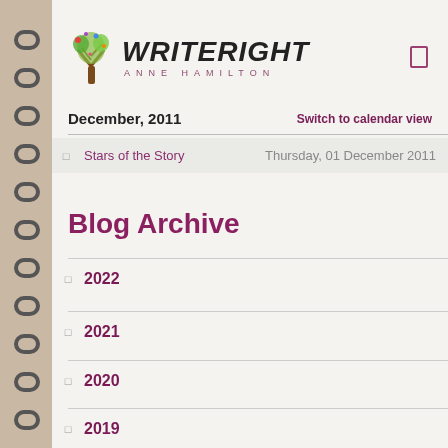[Figure (logo): WriteRight Anne Hamilton logo with colorful tree illustration]
December, 2011
Switch to calendar view
Stars of the Story    Thursday, 01 December 2011
Blog Archive
2022
2021
2020
2019